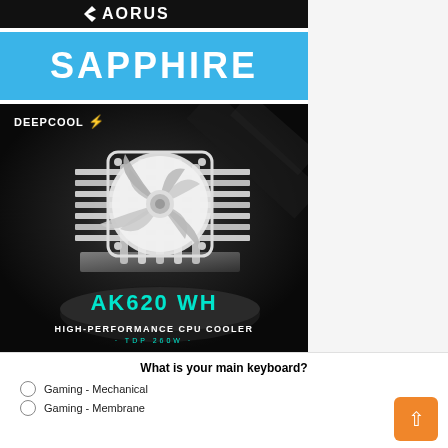[Figure (logo): AORUS logo on black background banner]
[Figure (logo): SAPPHIRE logo on blue background banner]
[Figure (photo): DeepCool AK620 WH High-Performance CPU Cooler product photo on dark background with teal accent text]
What is your main keyboard?
Gaming - Mechanical
Gaming - Membrane